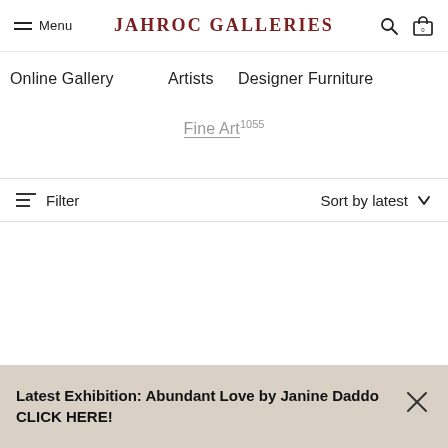Menu | JAHROC GALLERIES
Online Gallery
Artists
Designer Furniture
Fine Art 1055
Filter
Sort by latest
Latest Exhibition: Abundant Love by Janine Daddo CLICK HERE!